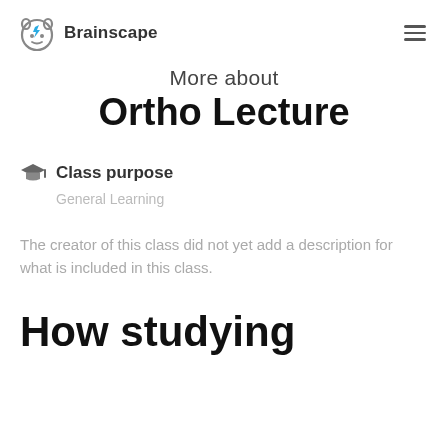Brainscape
More about
Ortho Lecture
Class purpose
General Learning
The creator of this class did not yet add a description for what is included in this class.
How studying